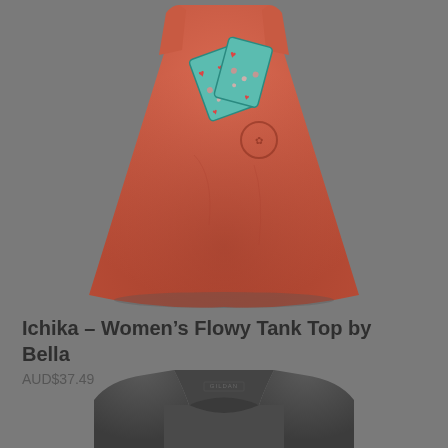[Figure (photo): A red/coral-colored women's flowy tank top with a decorative graphic featuring playing cards, hearts and floral designs with a teal/mint color accent, displayed on a gray background]
Ichika – Women's Flowy Tank Top by Bella
AUD$37.49
[Figure (photo): The top portion of a dark gray/charcoal crew neck t-shirt with a Gildan label visible at the collar, partially cropped at the bottom of the page]